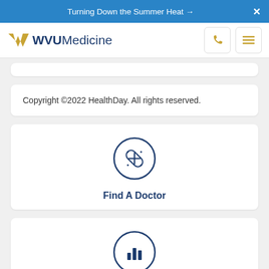Turning Down the Summer Heat →   X
[Figure (logo): WVU Medicine logo with flying WV in gold and WVUMedicine text in navy, plus phone and menu icons]
Copyright ©2022 HealthDay. All rights reserved.
[Figure (illustration): Find A Doctor icon: circle outline with a bandage/cross icon inside, navy blue]
Find A Doctor
[Figure (illustration): MyWVUChart icon: circle outline with bar chart icon inside, navy blue]
MyWVUChart